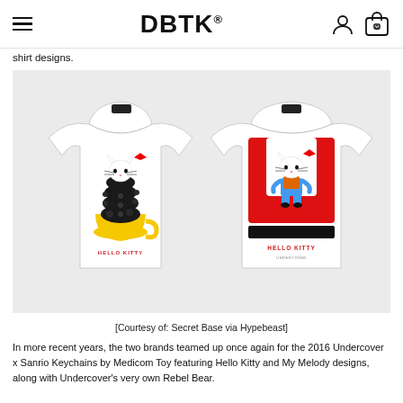DBTK®
shirt designs.
[Figure (photo): Two white Hello Kitty x Undercover collaboration t-shirts on a light gray background. Left shirt features Hello Kitty sitting on top of a black furry creature in a yellow teacup with HELLO KITTY text below. Right shirt features Hello Kitty with a red U-shaped design and HELLO KITTY text below.]
[Courtesy of: Secret Base via Hypebeast]
In more recent years, the two brands teamed up once again for the 2016 Undercover x Sanrio Keychains by Medicom Toy featuring Hello Kitty and My Melody designs, along with Undercover's very own Rebel Bear.